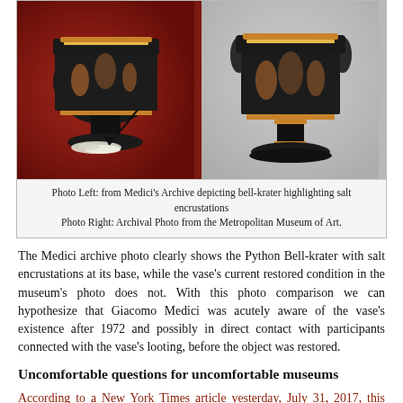[Figure (photo): Two side-by-side photos of bell-krater vases. Left: from Medici's Archive showing bell-krater with salt encrustations at base (arrow pointing to white deposits). Right: Archival photo from Metropolitan Museum of Art showing same vase in restored condition.]
Photo Left: from Medici's Archive depicting bell-krater highlighting salt encrustations
Photo Right: Archival Photo from the Metropolitan Museum of Art.
The Medici archive photo clearly shows the Python Bell-krater with salt encrustations at its base, while the vase's current restored condition in the museum's photo does not. With this photo comparison we can hypothesize that Giacomo Medici was acutely aware of the vase's existence after 1972 and possibly in direct contact with participants connected with the vase's looting, before the object was restored.
Uncomfortable questions for uncomfortable museums
According to a New York Times article yesterday, July 31, 2017, this bell-krater has been seized by New York State